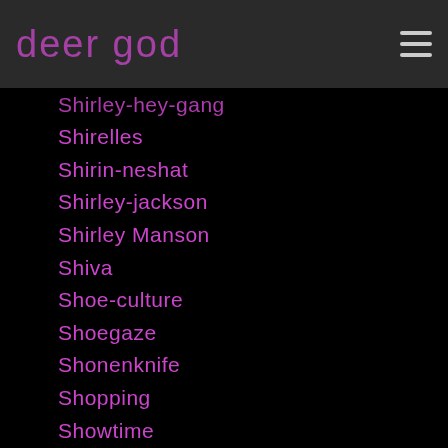deer god
Shirley-hey-gang
Shirelles
Shirin-neshat
Shirley-jackson
Shirley Manson
Shiva
Shoe-culture
Shoegaze
Shonenknife
Shopping
Showtime
Show-us-your-junk
Shrinebuilder
Shudder To Think
Shudder-to-think
Shybaby
Sia